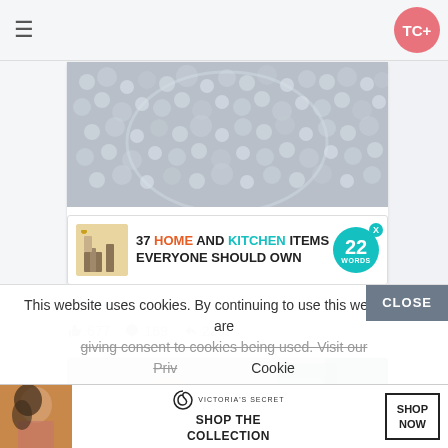[Figure (screenshot): MAC cosmetics advertisement banner with lipsticks and SHOP NOW button]
[Figure (photo): Close-up photo of water bubbles or carbonation]
[Figure (screenshot): 22 Words advertisement: 37 HOME AND KITCHEN ITEMS EVERYONE SHOULD OWN]
More...
677  169  226
[Figure (photo): Social media image card showing a person in pink top]
This website uses cookies. By continuing to use this website you are giving consent to cookies being used. Visit our Privacy Cookie
[Figure (screenshot): Victoria's Secret advertisement with SHOP THE COLLECTION and SHOP NOW button]